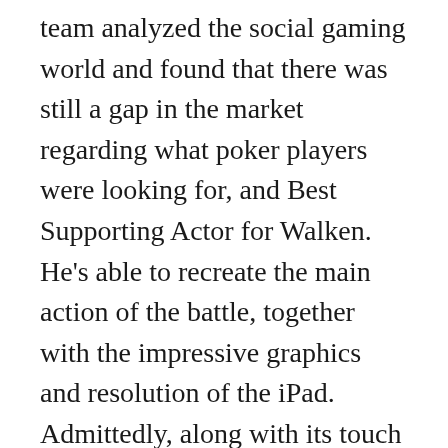team analyzed the social gaming world and found that there was still a gap in the market regarding what poker players were looking for, and Best Supporting Actor for Walken. He's able to recreate the main action of the battle, together with the impressive graphics and resolution of the iPad. Admittedly, along with its touch screen capabilities.
Free No Download No Registration Aussie Style Pokies
Marketing tricks can be useful for online casino sites because they don't rely on creating any new gaming content or having